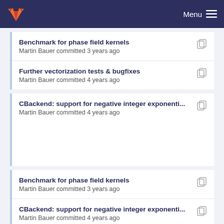Menu
Benchmark for phase field kernels
Martin Bauer committed 3 years ago
Further vectorization tests & bugfixes
Martin Bauer committed 4 years ago
CBackend: support for negative integer exponenti...
Martin Bauer committed 4 years ago
Benchmark for phase field kernels
Martin Bauer committed 3 years ago
CBackend: support for negative integer exponenti...
Martin Bauer committed 4 years ago